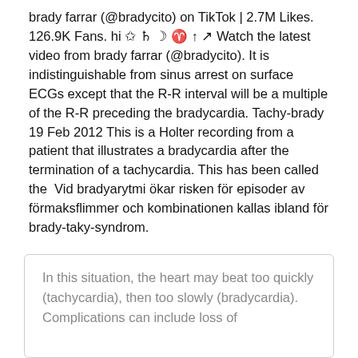brady farrar (@bradycito) on TikTok | 2.7M Likes. 126.9K Fans. hi ✩ ♄ ☽ ♈ ↑ ↗ Watch the latest video from brady farrar (@bradycito). It is indistinguishable from sinus arrest on surface ECGs except that the R-R interval will be a multiple of the R-R preceding the bradycardia. Tachy-brady  19 Feb 2012 This is a Holter recording from a patient that illustrates a bradycardia after the termination of a tachycardia. This has been called the  Vid bradyarytmi ökar risken för episoder av förmaksflimmer och kombinationen kallas ibland för brady-taky-syndrom.
In this situation, the heart may beat too quickly (tachycardia), then too slowly (bradycardia). Complications can include loss of consciousness and ultimately a high risk of...